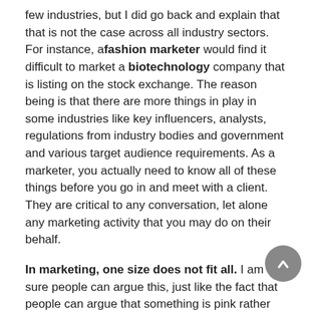few industries, but I did go back and explain that that is not the case across all industry sectors. For instance, a fashion marketer would find it difficult to market a biotechnology company that is listing on the stock exchange. The reason being is that there are more things in play in some industries like key influencers, analysts, regulations from industry bodies and government and various target audience requirements. As a marketer, you actually need to know all of these things before you go in and meet with a client. They are critical to any conversation, let alone any marketing activity that you may do on their behalf.
In marketing, one size does not fit all. I am sure people can argue this, just like the fact that people can argue that something is pink rather than red and so on, but the reality is, sometimes it is only the specialist marketing knowledge that can cut through the traction and produce a marketing strategy followed by marketing campaigns and activities that are tailored to the company that they are representing. It is also costly for a company to pay a marketing consultant to come up to speed. Why do this if you don't need to?